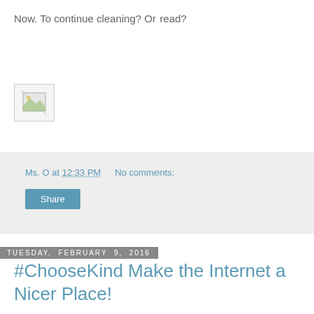Now. To continue cleaning? Or read?
[Figure (other): Broken/placeholder image icon]
Ms. O at 12:33 PM   No comments:
Share
Tuesday, February 9, 2016
#ChooseKind Make the Internet a Nicer Place!
Maybe you've already caught this via other outlets ... I only just found out about it tonight and this family lives just up the road from me. Now I'm crying like a baby and I just don't do that. :/